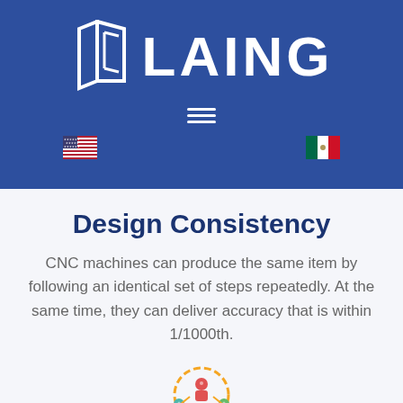[Figure (logo): Laing company logo with stylized door/panel icon and the text LAING in white on blue background]
[Figure (illustration): Hamburger menu icon (three horizontal white lines) on blue background]
[Figure (illustration): US flag emoji and Mexico flag emoji shown on blue background for language selection]
Design Consistency
CNC machines can produce the same item by following an identical set of steps repeatedly. At the same time, they can deliver accuracy that is within 1/1000th.
[Figure (illustration): Colorful icon showing three people figures connected in a circular arrangement, representing consistency/teamwork]